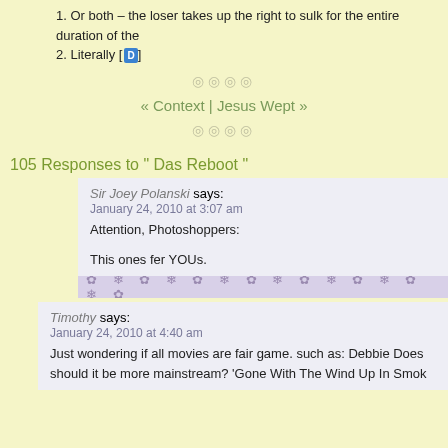1. Or both – the loser takes up the right to sulk for the entire duration of the
2. Literally [D]
◎◎◎◎
« Context | Jesus Wept »
◎◎◎◎
105 Responses to " Das Reboot "
Sir Joey Polanski says:
January 24, 2010 at 3:07 am
Attention, Photoshoppers:

This ones fer YOUs.
Timothy says:
January 24, 2010 at 4:40 am
Just wondering if all movies are fair game. such as: Debbie Does should it be more mainstream? 'Gone With The Wind Up In Smok